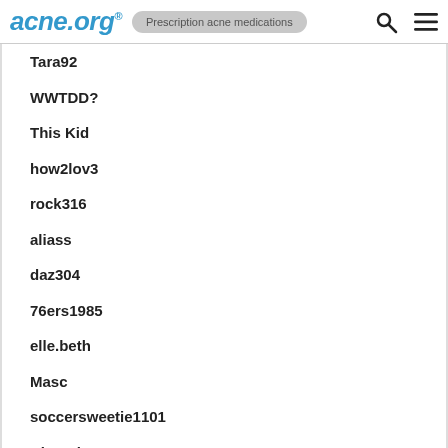acne.org® | Prescription acne medications
Tara92
WWTDD?
This Kid
how2lov3
rock316
aliass
daz304
76ers1985
elle.beth
Masc
soccersweetie1101
ChocolateCC
rhg